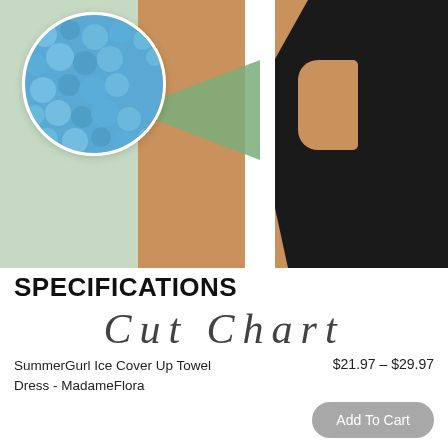[Figure (photo): Product image showing a model in a black dress with a circular close-up inset of blue towel fabric texture on a sage green background]
SPECIFICATIONS
[Figure (other): Partially visible decorative cut chart / size chart text in cursive font]
SummerGurl Ice Cover Up Towel Dress - MadameFlora
$21.97 – $29.97
Add To Cart